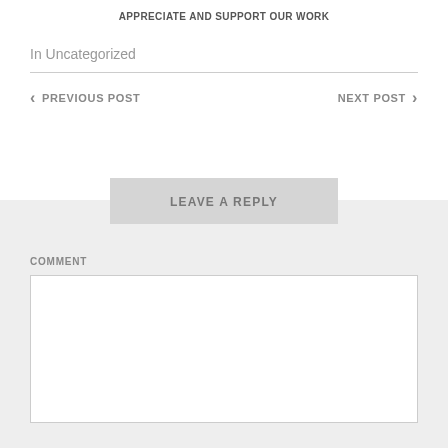APPRECIATE AND SUPPORT OUR WORK
In Uncategorized
< PREVIOUS POST    NEXT POST >
LEAVE A REPLY
COMMENT